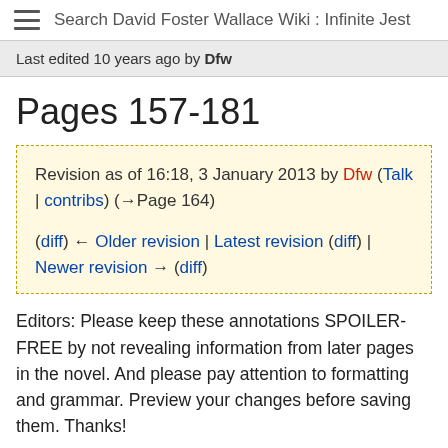Search David Foster Wallace Wiki : Infinite Jest
Last edited 10 years ago by Dfw
Pages 157-181
Revision as of 16:18, 3 January 2013 by Dfw (Talk | contribs) (→Page 164)

(diff) ← Older revision | Latest revision (diff) | Newer revision → (diff)
Editors: Please keep these annotations SPOILER-FREE by not revealing information from later pages in the novel. And please pay attention to formatting and grammar. Preview your changes before saving them. Thanks!